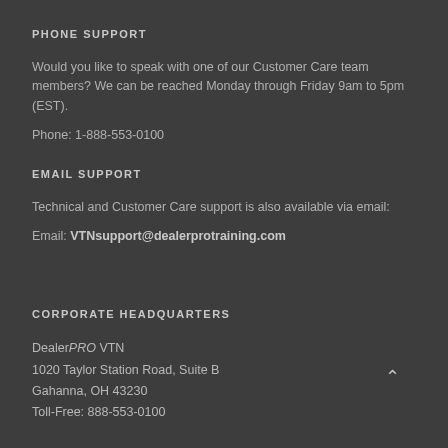PHONE SUPPORT
Would you like to speak with one of our Customer Care team members? We can be reached Monday through Friday 9am to 5pm (EST).
Phone: 1-888-553-0100
EMAIL SUPPORT
Technical and Customer Care support is also available via email:
Email: VTNsupport@dealerprotraining.com
CORPORATE HEADQUARTERS
DealerPRO VTN
1020 Taylor Station Road, Suite B
Gahanna, OH 43230
Toll-Free: 888-553-0100